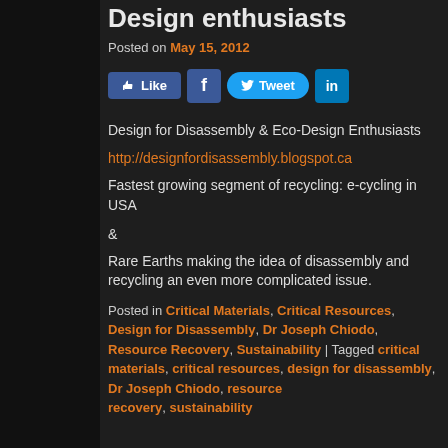Design enthusiasts
Posted on May 15, 2012
[Figure (other): Social sharing buttons: Like (Facebook), Facebook icon, Tweet (Twitter), LinkedIn icon]
Design for Disassembly & Eco-Design Enthusiasts
http://designfordisassembly.blogspot.ca
Fastest growing segment of recycling: e-cycling in USA
&
Rare Earths making the idea of disassembly and recycling an even more complicated issue.
Posted in Critical Materials, Critical Resources, Design for Disassembly, Dr Joseph Chiodo, Resource Recovery, Sustainability | Tagged critical materials, critical resources, design for disassembly, Dr Joseph Chiodo, resource recovery, sustainability